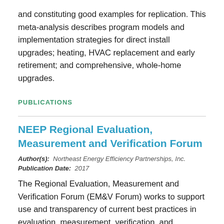and constituting good examples for replication. This meta-analysis describes program models and implementation strategies for direct install upgrades; heating, HVAC replacement and early retirement; and comprehensive, whole-home upgrades.
PUBLICATIONS
NEEP Regional Evaluation, Measurement and Verification Forum
Author(s): Northeast Energy Efficiency Partnerships, Inc.
Publication Date: 2017
The Regional Evaluation, Measurement and Verification Forum (EM&V Forum) works to support use and transparency of current best practices in evaluation, measurement, verification, and reporting of energy and demand savings, costs, avoided emissions and other impacts of energy efficiency, while also advancing the